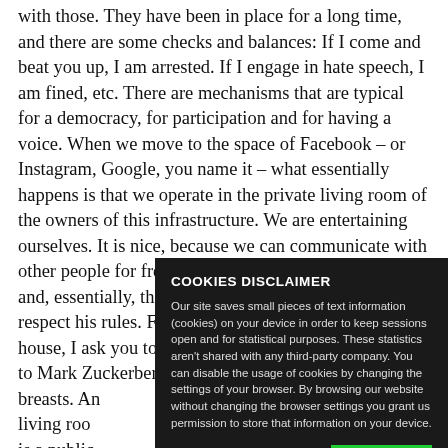with those. They have been in place for a long time, and there are some checks and balances: If I come and beat you up, I am arrested. If I engage in hate speech, I am fined, etc. There are mechanisms that are typical for a democracy, for participation and for having a voice. When we move to the space of Facebook – or Instagram, Google, you name it – what essentially happens is that we operate in the private living room of the owners of this infrastructure. We are entertaining ourselves. It is nice, because we can communicate with other people for free, but in fact we are the product, and, essentially, the owner of the space is asking us to respect his rules. For example, if you come into my house, I ask you to take off your shoes. When we come to Mark Zuckerberg's living room, he a... breasts. An... living roo... is a public... comes to t... works very... which are p... international... operate there with the multi-stakeholder decision-making model and
COOKIES DISCLAIMER
Our site saves small pieces of text information (cookies) on your device in order to keep sessions open and for statistical purposes. These statistics aren't shared with any third-party company. You can disable the usage of cookies by changing the settings of your browser. By browsing our website without changing the browser settings you grant us permission to store that information on your device.
I AGREE